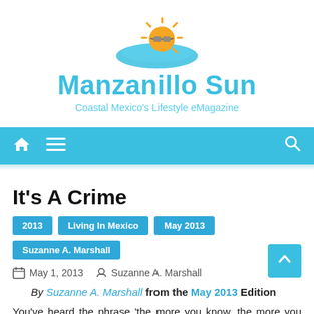[Figure (logo): Manzanillo Sun logo: sun with sunglasses over a blue wave]
Manzanillo Sun
Coastal Mexico's Lifestyle eMagazine
Navigation bar with home, menu, and search icons
It's A Crime
2013
Living In Mexico
May 2013
Suzanne A. Marshall
May 1, 2013   Suzanne A. Marshall
By Suzanne A. Marshall from the May 2013 Edition
You've heard the phrase 'the more you know, the more you don't know'? That theme comes up if you turn on the television, pick up this...